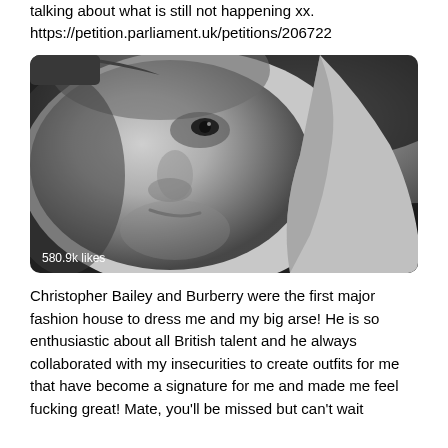talking about what is still not happening xx.
https://petition.parliament.uk/petitions/206722
[Figure (photo): Black and white close-up portrait photograph of a man resting his face against his hand, looking slightly to the side with a subtle expression. The image has '580.9k likes' overlaid in white text at the bottom left.]
Christopher Bailey and Burberry were the first major fashion house to dress me and my big arse! He is so enthusiastic about all British talent and he always collaborated with my insecurities to create outfits for me that have become a signature for me and made me feel fucking great! Mate, you'll be missed but can't wait